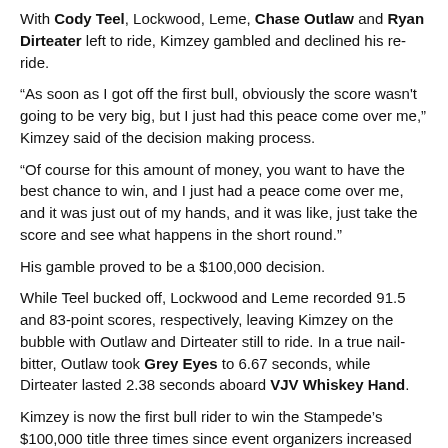With Cody Teel, Lockwood, Leme, Chase Outlaw and Ryan Dirteater left to ride, Kimzey gambled and declined his re-ride.
“As soon as I got off the first bull, obviously the score wasn’t going to be very big, but I just had this peace come over me,” Kimzey said of the decision making process.
“Of course for this amount of money, you want to have the best chance to win, and I just had a peace come over me, and it was just out of my hands, and it was like, just take the score and see what happens in the short round.”
His gamble proved to be a $100,000 decision.
While Teel bucked off, Lockwood and Leme recorded 91.5 and 83-point scores, respectively, leaving Kimzey on the bubble with Outlaw and Dirteater still to ride. In a true nail-bitter, Outlaw took Grey Eyes to 6.67 seconds, while Dirteater lasted 2.38 seconds aboard VJV Whiskey Hand.
Kimzey is now the first bull rider to win the Stampede’s $100,000 title three times since event organizers increased the payout in 2006.
“What a blessing,” he said. “That’s the only way I can put it into words. It’s a rodeo that we always dream about coming to, and like I said, to have the success I’ve had, I just want to thank the big man upstairs because it’s been a real fun ride and love it.”